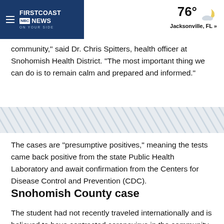FIRSTCOAST NEWS | 76° Jacksonville, FL »
community," said Dr. Chris Spitters, health officer at Snohomish Health District. "The most important thing we can do is to remain calm and prepared and informed."
[Figure (other): Decorative diagonal stripe divider band]
The cases are "presumptive positives," meaning the tests came back positive from the state Public Health Laboratory and await confirmation from the Centers for Disease Control and Prevention (CDC).
Snohomish County case
The student had not recently traveled internationally and is believed to have contracted coronavirus in the community